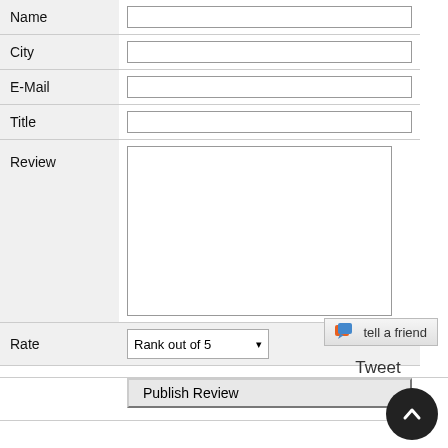| Name |  |
| City |  |
| E-Mail |  |
| Title |  |
| Review |  |
| Rate | Rank out of 5 |
|  | Publish Review |
[Figure (infographic): Tell a friend button with speech bubble icon and orange/blue color scheme]
Tweet
[Figure (infographic): Back to top circular dark button with upward chevron arrow]